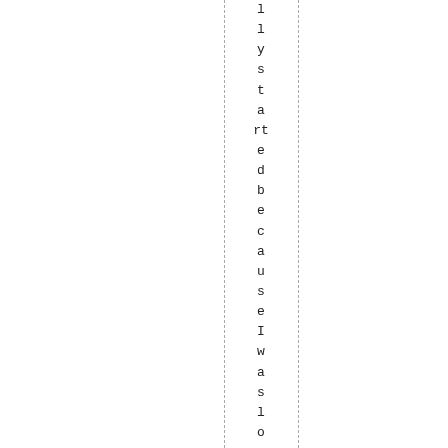ll y s t a rt e d b e c a u s e I w a s l o o k i n g f o r s